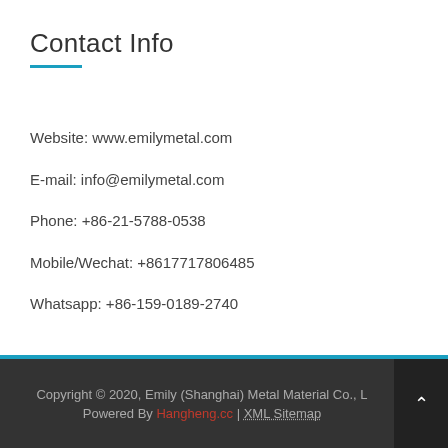Contact Info
Website: www.emilymetal.com
E-mail: info@emilymetal.com
Phone: +86-21-5788-0538
Mobile/Wechat: +8617717806485
Whatsapp: +86-159-0189-2740
Copyright © 2020, Emily (Shanghai) Metal Material Co., L | Powered By Hangheng.cc | XML Sitemap